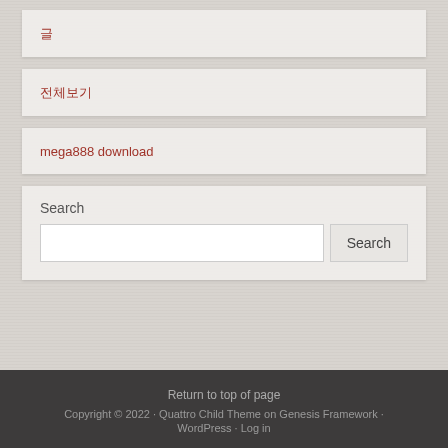글
전체보기
mega888 download
Search
Return to top of page
Copyright © 2022 · Quattro Child Theme on Genesis Framework ·
WordPress · Log in